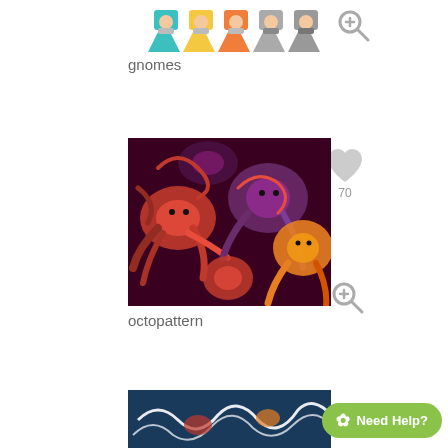[Figure (illustration): Colorful gnome characters illustration at top, partially visible]
gnomes
[Figure (illustration): Dense pattern of red and orange octopuses on dark background - octopattern]
octopattern
[Figure (illustration): Partial view of a third pattern at bottom with dark blue background and animals]
Need Help?